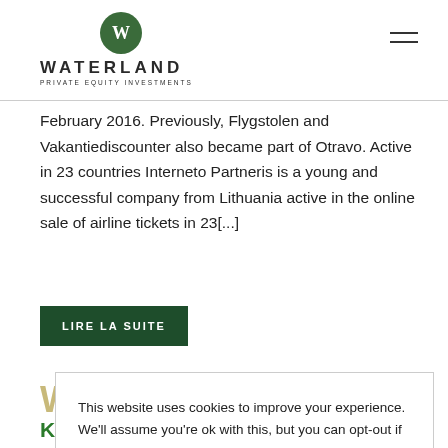WATERLAND PRIVATE EQUITY INVESTMENTS
February 2016. Previously, Flygstolen and Vakantiediscounter also became part of Otravo. Active in 23 countries Interneto Partneris is a young and successful company from Lithuania active in the online sale of airline tickets in 23[...]
LIRE LA SUITE
This website uses cookies to improve your experience. We'll assume you're ok with this, but you can opt-out if you wish.
Read our Privacy Policy
COOKIE SETTINGS  ACCEPT
Klinik Hamburg